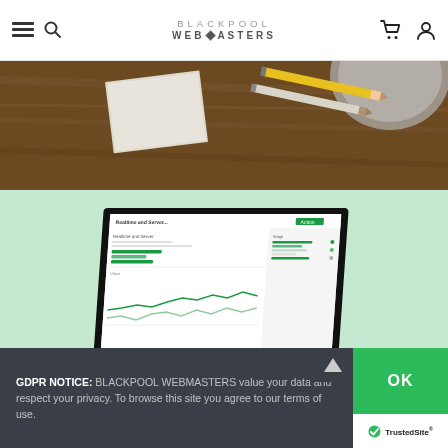Blackpool Webmasters — navigation header with hamburger menu, search, logo, cart, and user icons
[Figure (photo): Overhead view of a wooden desk with a blank sheet of paper and two pencils (yellow and white)]
[Figure (screenshot): A dark laptop open on a mint-green background, displaying a web dashboard with charts and green progress bars]
GDPR NOTICE: BLACKPOOL WEBMASTERS value your data and respect your privacy. To browse this site you agree to our terms of use.